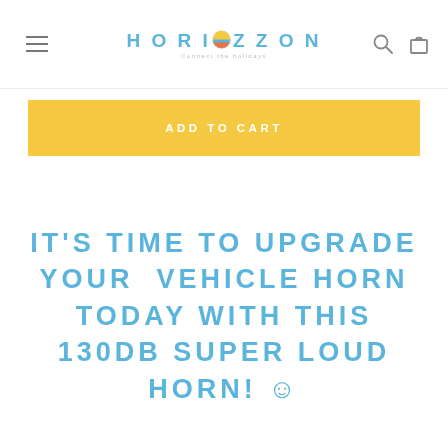HORIZZON
ADD TO CART
IT'S TIME TO UPGRADE YOUR VEHICLE HORN TODAY WITH THIS 130DB SUPER LOUD HORN! 😊